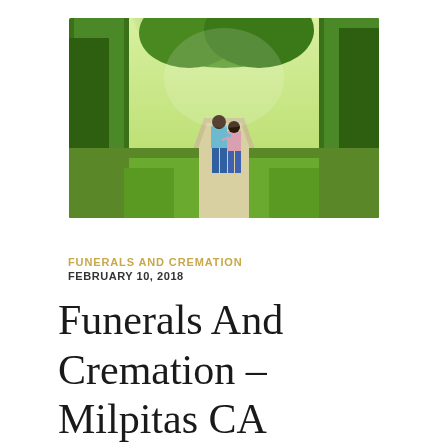[Figure (photo): A couple walking away from the camera down a tree-lined path, surrounded by lush green foliage and sunlight filtering through the trees. One person wears a light blue shirt and jeans, the other a pink top with jeans. They have their arms around each other.]
FUNERALS AND CREMATION FEBRUARY 10, 2018
Funerals And Cremation – Milpitas CA